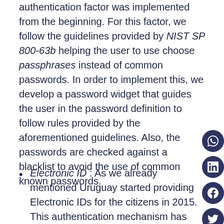authentication factor was implemented from the beginning. For this factor, we follow the guidelines provided by NIST SP 800-63b helping the user to use choose passphrases instead of common passwords. In order to implement this, we develop a password widget that guides the user in the password definition to follow rules provided by the aforementioned guidelines. Also, the passwords are checked against a blacklist to avoid the use of common known passwords.
Electronic ID: As we already mentioned Uruguay started providing Electronic IDs for the citizens in 2015. This authentication mechanism has several security